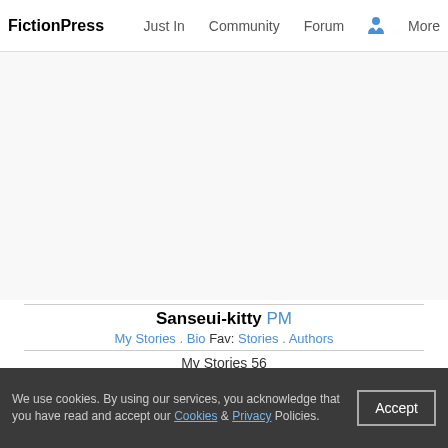FictionPress  Just In  Community  Forum  More
Sanseui-kitty PM
My Stories . Bio Fav: Stories . Authors
My Stories 56
A lovely thought A sudden fleeting thought about you.
Poetry: Life, K+, English, Hurt/Comfort, words: 43, Jul 12, 2010
The Songbird He sits on my shoulder singing, and guiding.
Poetry: Life, K, English, Friendship & Poetry, words: 116, Jun 22, 2010
My muse Everyone has one, they come in any shape and any form, they picked you specifically, for a daunting task. If you don't do a good job they leave you until they have something else to say. But we love them nonetheless
Poetry: Life, K, English, Poetry & Humor, words: 124, Jun 3, 2010
The runaways I have left everything for you. Please do not just
We use cookies. By using our services, you acknowledge that you have read and accept our Cookies & Privacy Policies.  Accept